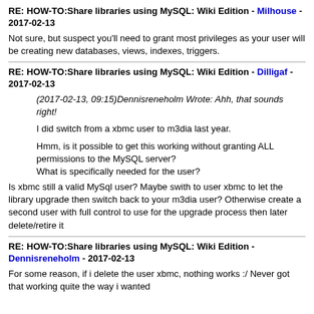RE: HOW-TO:Share libraries using MySQL: Wiki Edition - Milhouse - 2017-02-13
Not sure, but suspect you'll need to grant most privileges as your user will be creating new databases, views, indexes, triggers.
RE: HOW-TO:Share libraries using MySQL: Wiki Edition - Dilligaf - 2017-02-13
(2017-02-13, 09:15)Dennisreneholm Wrote: Ahh, that sounds right!

I did switch from a xbmc user to m3dia last year.

Hmm, is it possible to get this working without granting ALL permissions to the MySQL server?
What is specifically needed for the user?
Is xbmc still a valid MySql user? Maybe swith to user xbmc to let the library upgrade then switch back to your m3dia user? Otherwise create a second user with full control to use for the upgrade process then later delete/retire it
RE: HOW-TO:Share libraries using MySQL: Wiki Edition - Dennisreneholm - 2017-02-13
For some reason, if i delete the user xbmc, nothing works :/ Never got that working quite the way i wanted